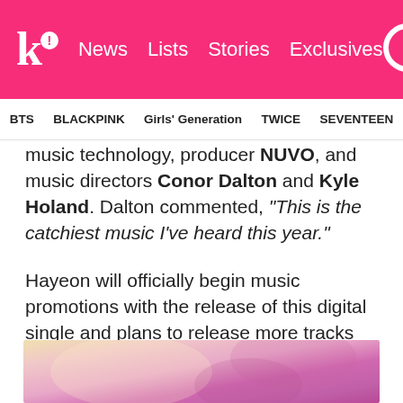K! News Lists Stories Exclusives
BTS  BLACKPINK  Girls' Generation  TWICE  SEVENTEEN
music technology, producer NUVO, and music directors Conor Dalton and Kyle Holand. Dalton commented, “This is the catchiest music I’ve heard this year.”
Hayeon will officially begin music promotions with the release of this digital single and plans to release more tracks by the end of this year.
[Figure (photo): Close-up blurred photo with pink and warm tones, appears to show a face or figure with soft magenta and cream lighting]